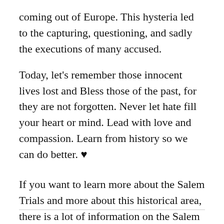coming out of Europe. This hysteria led to the capturing, questioning, and sadly the executions of many accused.
Today, let's remember those innocent lives lost and Bless those of the past, for they are not forgotten. Never let hate fill your heart or mind. Lead with love and compassion. Learn from history so we can do better. ♥
If you want to learn more about the Salem Trials and more about this historical area, there is a lot of information on the Salem visitors website including information about the Salem Witch Museum.